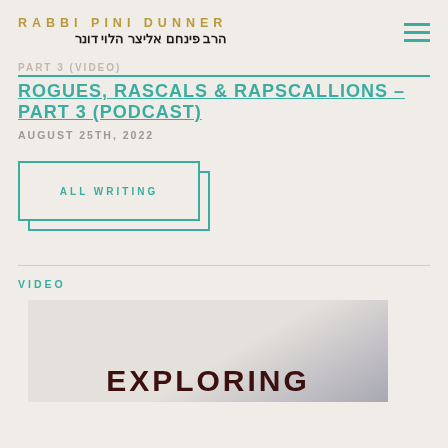RABBI PINI DUNNER / הרב פינחם אליצר הלוי דונר
ROGUES, RASCALS & RAPSCALLIONS – PART 3 (PODCAST)
AUGUST 25TH, 2022
ALL WRITING
VIDEO
[Figure (photo): Thumbnail image showing the word EXPLORING in bold dark text on a light background]